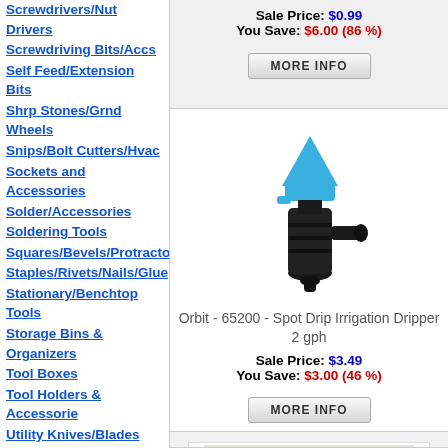Screwdrivers/Nut Drivers
Screwdriving Bits/Accs
Self Feed/Extension Bits
Shrp Stones/Grnd Wheels
Snips/Bolt Cutters/Hvac
Sockets and Accessories
Solder/Accessories
Soldering Tools
Squares/Bevels/Protractor
Staples/Rivets/Nails/Glue
Stationary/Benchtop Tools
Storage Bins & Organizers
Tool Boxes
Tool Holders & Accessorie
Utility Knives/Blades
V-Belts/Accs
Vises
Welders/Accessories
Sale Price: $0.99
You Save: $6.00 (86 %)
[Figure (other): MORE INFO button for first product]
[Figure (photo): Orbit 65200 Spot Drip Irrigation Dripper product image - black and blue plastic drip emitter]
Orbit - 65200 - Spot Drip Irrigation Dripper 2 gph
Sale Price: $3.49
You Save: $3.00 (46 %)
[Figure (other): MORE INFO button for Orbit product]
[Figure (photo): Third product image - partially visible product box]